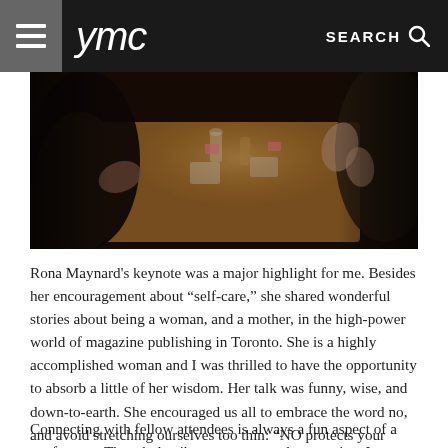ymc  SEARCH
[Figure (photo): People sitting around a wooden table at an event, clapping and socializing, with drinks and papers on the table, dark ambiance]
Rona Maynard's keynote was a major highlight for me. Besides her encouragement about “self-care,” she shared wonderful stories about being a woman, and a mother, in the high-power world of magazine publishing in Toronto. She is a highly accomplished woman and I was thrilled to have the opportunity to absorb a little of her wisdom. Her talk was funny, wise, and down-to-earth. She encouraged us all to embrace the word no, and avoid stretching ourselves too thin: “NO protects your emotional ecosystem.”
Connecting with fellow attendees is always a fun aspect of a conference. The whole vibe was warm and supportive. I met